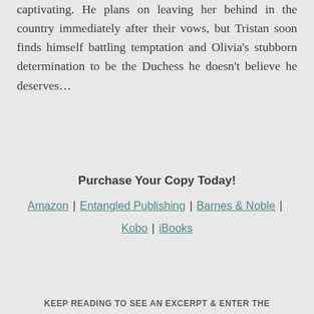captivating. He plans on leaving her behind in the country immediately after their vows, but Tristan soon finds himself battling temptation and Olivia's stubborn determination to be the Duchess he doesn't believe he deserves…
Purchase Your Copy Today!
Amazon | Entangled Publishing | Barnes & Noble | Kobo | iBooks
KEEP READING TO SEE AN EXCERPT & ENTER THE